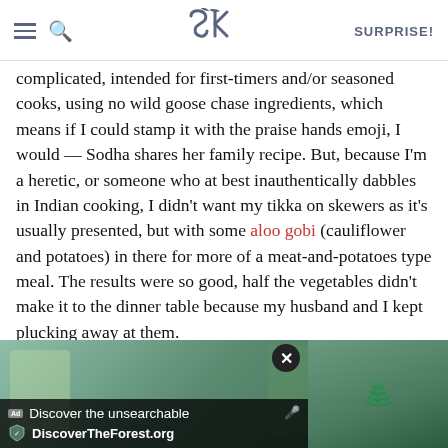SK | SURPRISE!
complicated, intended for first-timers and/or seasoned cooks, using no wild goose chase ingredients, which means if I could stamp it with the praise hands emoji, I would — Sodha shares her family recipe. But, because I'm a heretic, or someone who at best inauthentically dabbles in Indian cooking, I didn't want my tikka on skewers as it's usually presented, but with some aloo gobi (cauliflower and potatoes) in there for more of a meat-and-potatoes type meal. The results were so good, half the vegetables didn't make it to the dinner table because my husband and I kept plucking away at them.
[Figure (screenshot): Advertisement banner for DiscoverTheForest.org showing forest imagery with text 'Discover the unsearchable' and 'DiscoverTheForest.org']